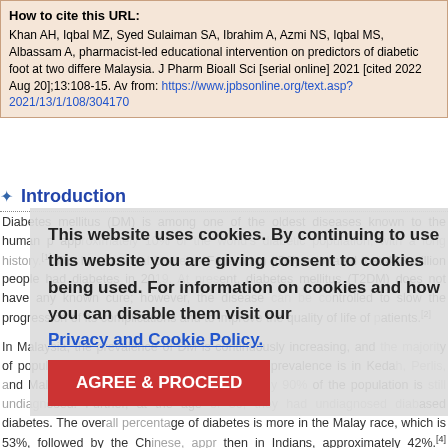How to cite this URL: Khan AH, Iqbal MZ, Syed Sulaiman SA, Ibrahim A, Azmi NS, Iqbal MS, Albassam A, pharmacist-led educational intervention on predictors of diabetic foot at two different Malaysia. J Pharm Bioall Sci [serial online] 2021 [cited 2022 Aug 20];13:108-15. Available from: https://www.jpbsonline.org/text.asp?2021/13/1/108/304170
Introduction
Diabetes mellitus (DM) is among one of the oldest diseases known to the human p... approximately 10% of the world's diabetic population, with a long history.[1] The International Diabetes Federation (IDF) estimated that 463 million people had diabetes in 2019. At present, diabetes mellitus (T2DM) does not have any known cure; however, the disease can be controlled to slow the progression of its complications and to improve the quality of life of patients.[2]
In Malaysia, the prevalence of DM is continuously increasing, and the majority of population is still undiagnosed. The highest prevalence is in Kedah, Perlis, and Malaysia.[3] At the age of 30, approximately 90% of the population is still undiagnosed. Further, at the age of 30, they had undiagnosed diabetes. The overall percentage of diabetes is more in the Malay race, which is 53%, followed by the Chinese, approximately then in Indians, approximately 42%.[4] Regarding the control of diabetes, only 23